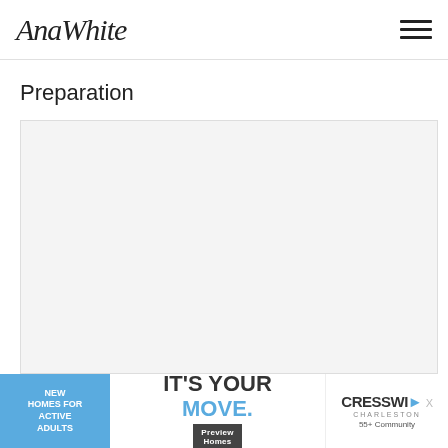AnaWhite
Preparation
[Figure (other): Large light gray content/image placeholder box]
[Figure (other): Advertisement banner: NEW HOMES FOR ACTIVE ADULTS / IT'S YOUR MOVE. / Preview Homes / CRESSWIND CHARLESTON 55+ Community]